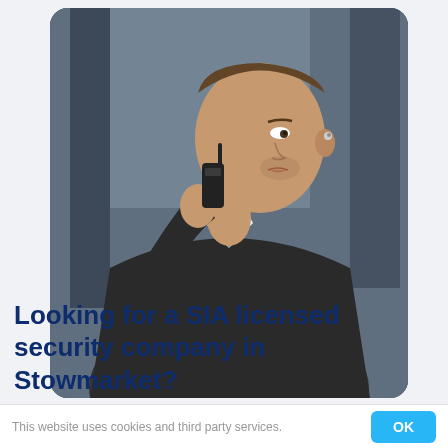[Figure (photo): A man in a dark suit holding a walkie-talkie radio to his face, wearing an earpiece, looking to the side near a window. Security guard / bodyguard photo.]
Looking for a SIA licensed security company in Stowmarket?
This website uses cookies and third party services.